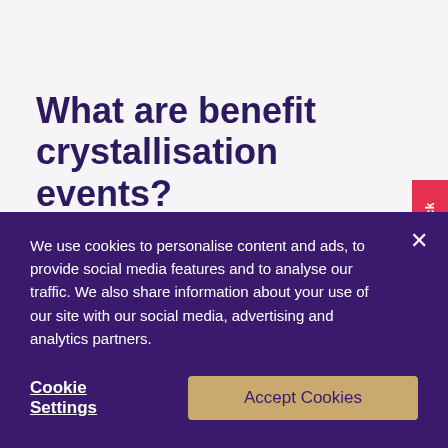What are benefit crystallisation events?
The pension industry is riddled with unusual and often confusing terminology. An excellent example is 'benefit crystallisation events'. In this article, we explain what benefit crystallisation events are and
We use cookies to personalise content and ads, to provide social media features and to analyse our traffic. We also share information about your use of our site with our social media, advertising and analytics partners.
Cookie Settings
Accept Cookies